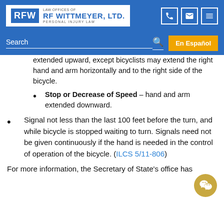Law Offices of RF Wittmeyer, Ltd. — Personal Injury Law
extended upward, except bicyclists may extend the right hand and arm horizontally and to the right side of the bicycle.
Stop or Decrease of Speed – hand and arm extended downward.
Signal not less than the last 100 feet before the turn, and while bicycle is stopped waiting to turn. Signals need not be given continuously if the hand is needed in the control of operation of the bicycle. (ILCS 5/11-806)
For more information, the Secretary of State's office has